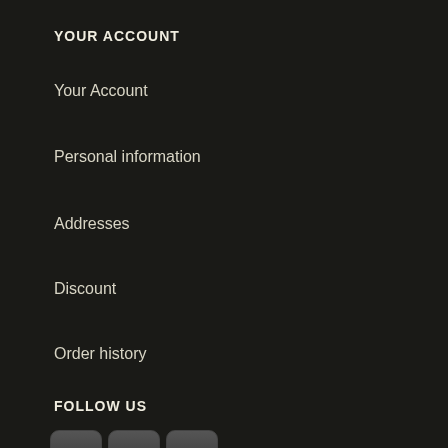YOUR ACCOUNT
Your Account
Personal information
Addresses
Discount
Order history
FOLLOW US
[Figure (screenshot): Social media icon buttons: Facebook, VKontakte, Twitter, Odnoklassniki, Google+, Blogger, Clip/Pin, and Email]
PHONES
[Figure (other): Green circular phone call button in bottom-right corner]